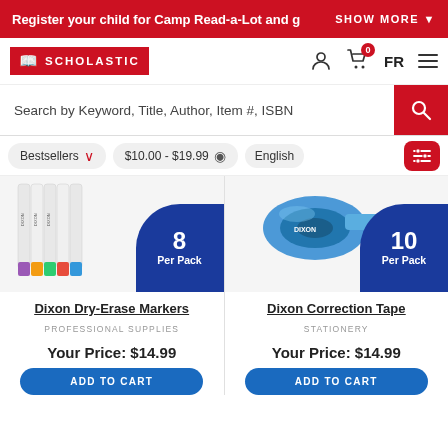Register your child for Camp Read-a-Lot and g   SHOW MORE
[Figure (logo): Scholastic logo in red banner with open book icon]
Search by Keyword, Title, Author, Item #, ISBN
Bestsellers  $10.00 - $19.99  English
[Figure (photo): Dixon Dry-Erase Markers, 8 per pack, shown in white with multicolor caps]
[Figure (photo): Dixon Correction Tape, 10 per pack, shown in blue]
Dixon Dry-Erase Markers
PROFESSIONAL SUPPLIES
Your Price: $14.99
ADD TO CART
Dixon Correction Tape
STATIONERY
Your Price: $14.99
ADD TO CART